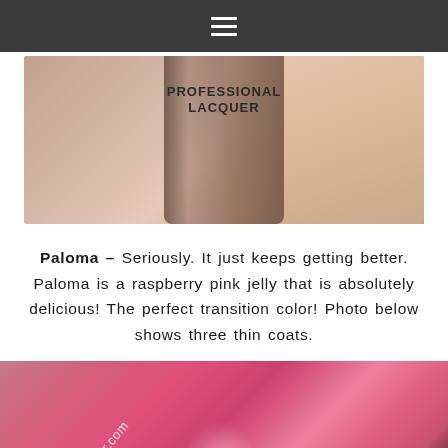≡
[Figure (photo): Close-up of a dark nail polish bottle labeled PROFESSIONAL LACQUER against a skin-tone background]
Paloma – Seriously. It just keeps getting better. Paloma is a raspberry pink jelly that is absolutely delicious! The perfect transition color! Photo below shows three thin coats.
[Figure (photo): Close-up macro photo of fingernails painted with Paloma raspberry pink jelly nail polish, three thin coats, with loveforlacquer.com watermark]